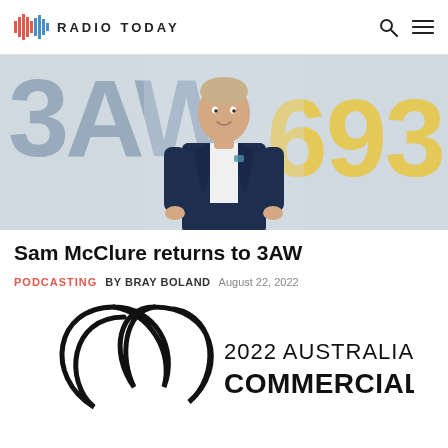RADIO TODAY
[Figure (photo): Man in navy blue suit standing in front of a 3AW 693 branded background]
Sam McClure returns to 3AW
PODCASTING  BY BRAY BOLAND  August 22, 2022
[Figure (logo): 2022 Australian Commercial Radio Awards logo — circular design with text '2022 AUSTRALIAN COMMERCIAL']